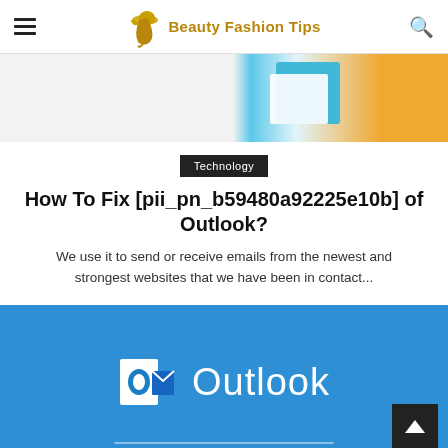Beauty Fashion Tips
[Figure (photo): Partial view of decorative objects including blue and white shapes and an orange block, cropped website header image]
Technology
How To Fix [pii_pn_b59480a92225e10b] of Outlook?
We use it to send or receive emails from the newest and strongest websites that we have been in contact...
[Figure (screenshot): Microsoft Outlook logo on a blue background with the Outlook icon and text 'Outlook' in white]